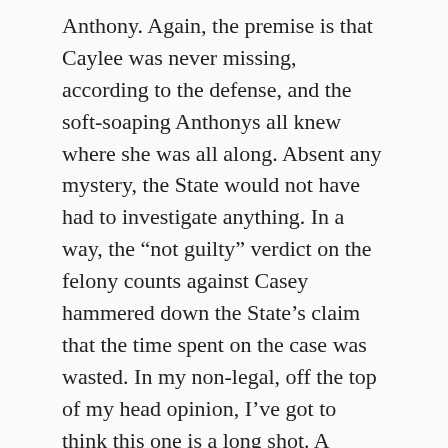Anthony. Again, the premise is that Caylee was never missing, according to the defense, and the soft-soaping Anthonys all knew where she was all along. Absent any mystery, the State would not have had to investigate anything. In a way, the “not guilty” verdict on the felony counts against Casey hammered down the State’s claim that the time spent on the case was wasted. In my non-legal, off the top of my head opinion, I’ve got to think this one is a long shot. A conference between the opposing counsel and Judge Perry will take place in late August.
[Read more...]
Share this: